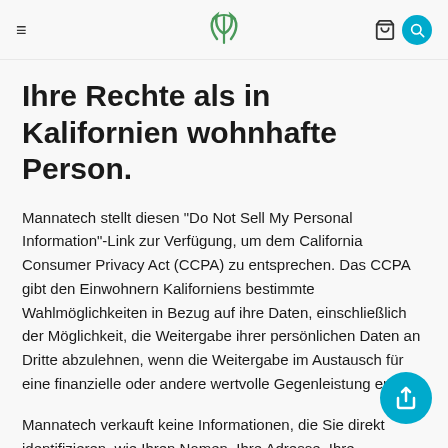Mannatech navigation header with hamburger menu, logo, cart and search icons
Ihre Rechte als in Kalifornien wohnhafte Person.
Mannatech stellt diesen "Do Not Sell My Personal Information"-Link zur Verfügung, um dem California Consumer Privacy Act (CCPA) zu entsprechen. Das CCPA gibt den Einwohnern Kaliforniens bestimmte Wahlmöglichkeiten in Bezug auf ihre Daten, einschließlich der Möglichkeit, die Weitergabe ihrer persönlichen Daten an Dritte abzulehnen, wenn die Weitergabe im Austausch für eine finanzielle oder andere wertvolle Gegenleistung erfolgt.
Mannatech verkauft keine Informationen, die Sie direkt identifizieren, wie Ihren Namen, Ihre Adresse, Ihre Sozialversicherungsnummer oder Ihre Bankdaten. Wir können jedoch personenbezogene Daten an unsere...